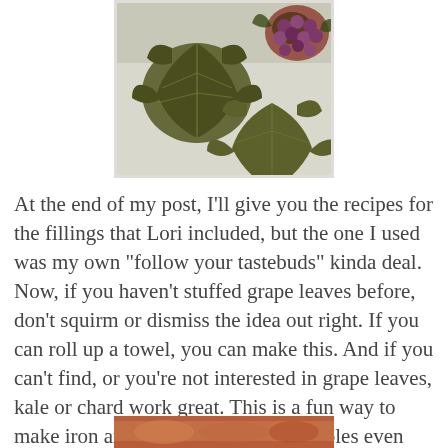[Figure (photo): Close-up photo of dried/preserved grape leaves laid flat on a white surface, with a basket of red/purple grapes visible in the upper right corner]
At the end of my post, I'll give you the recipes for the fillings that Lori included, but the one I used was my own "follow your tastebuds" kinda deal. Now, if you haven't stuffed grape leaves before, don't squirm or dismiss the idea out right. If you can roll up a towel, you can make this. And if you can't find, or you're not interested in grape leaves, kale or chard work great. This is a fun way to make iron and mineral loaded vegetables even more attractive (including to children.)
[Figure (photo): Partial photo visible at bottom of page, appears to show food items]